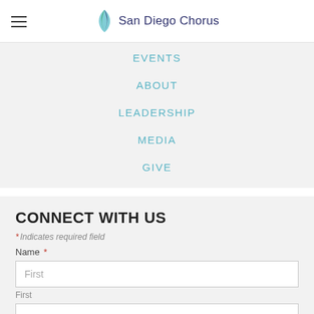San Diego Chorus
EVENTS
ABOUT
LEADERSHIP
MEDIA
GIVE
CONNECT WITH US
* Indicates required field
Name *
First
First